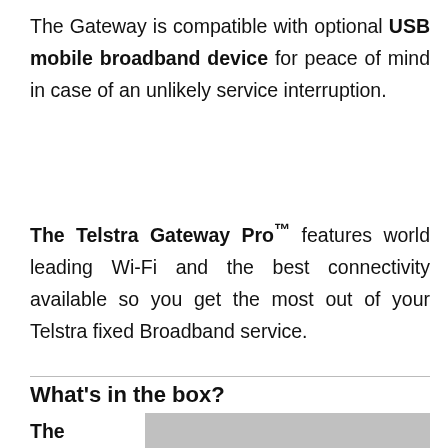The Gateway is compatible with optional USB mobile broadband device for peace of mind in case of an unlikely service interruption.
The Telstra Gateway Pro™ features world leading Wi-Fi and the best connectivity available so you get the most out of your Telstra fixed Broadband service.
What's in the box?
The